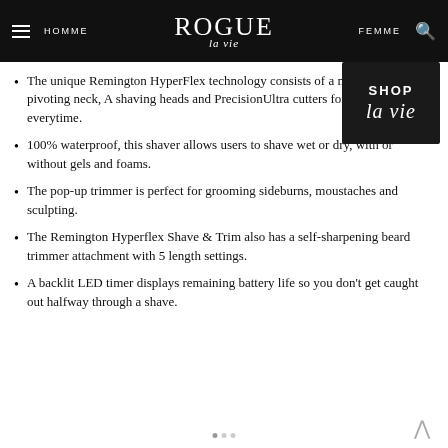HOMME | ROGUE la vie | FEMME
[Figure (logo): Shop la vie dark badge/button in top right corner]
The unique Remington HyperFlex technology consists of a multi-directional pivoting neck, A shaving heads and PrecisionUltra cutters for a better shave, everytime.
100% waterproof, this shaver allows users to shave wet or dry, with or without gels and foams.
The pop-up trimmer is perfect for grooming sideburns, moustaches and sculpting.
The Remington Hyperflex Shave & Trim also has a self-sharpening beard trimmer attachment with 5 length settings.
A backlit LED timer displays remaining battery life so you don't get caught out halfway through a shave.